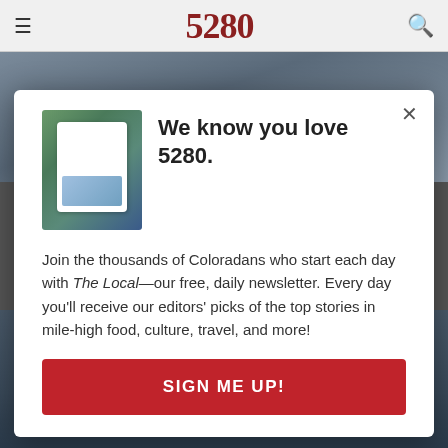≡   5280   🔍
[Figure (photo): Background photo of an interior room, partially visible behind modal overlay]
We know you love 5280.
[Figure (photo): Thumbnail image of a hand holding a smartphone displaying The Local newsletter from 5280 magazine]
Join the thousands of Coloradans who start each day with The Local—our free, daily newsletter. Every day you'll receive our editors' picks of the top stories in mile-high food, culture, travel, and more!
SIGN ME UP!